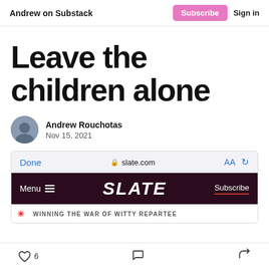Andrew on Substack | Subscribe | Sign in
Leave the children alone
Andrew Rouchotas
Nov 15, 2021
[Figure (screenshot): Screenshot of Slate.com in mobile browser, showing browser bar with Done, slate.com URL, AA and refresh controls; Slate navigation bar with Menu, SLATE logo, and Subscribe button; and tagline 'WINNING THE WAR OF WITTY REPARTEE']
6 [likes] [comments] [share]